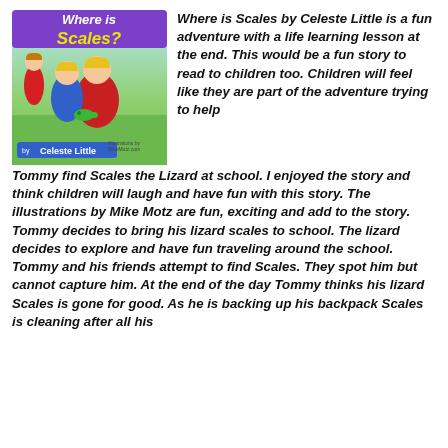[Figure (illustration): Book cover of 'Where is Scales?' by Celeste Little, showing two cartoon children and a lizard, with colorful illustrated background]
Where is Scales by Celeste Little is a fun adventure with a life learning lesson at the end. This would be a fun story to read to children too. Children will feel like they are part of the adventure trying to help Tommy find Scales the Lizard at school. I enjoyed the story and think children will laugh and have fun with this story. The illustrations by Mike Motz are fun, exciting and add to the story. Tommy decides to bring his lizard scales to school. The lizard decides to explore and have fun traveling around the school. Tommy and his friends attempt to find Scales. They spot him but cannot capture him. At the end of the day Tommy thinks his lizard Scales is gone for good. As he is backing up his backpack Scales is cleaning after all his